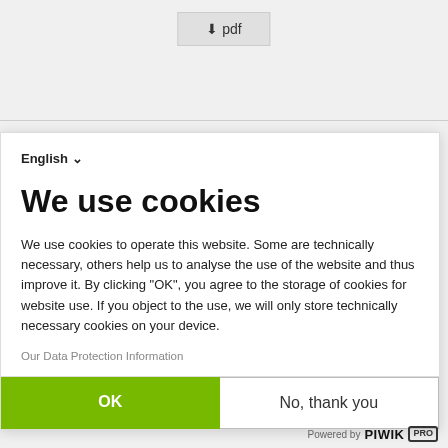[Figure (screenshot): PDF download button with arrow icon]
[Figure (screenshot): Partial document thumbnail and title 'Ukraine and EU: Towards a' visible behind cookie modal]
English ▾
We use cookies
We use cookies to operate this website. Some are technically necessary, others help us to analyse the use of the website and thus improve it. By clicking "OK", you agree to the storage of cookies for website use. If you object to the use, we will only store technically necessary cookies on your device.
Our Data Protection Information
OK
No, thank you
Powered by PIWIK PRO